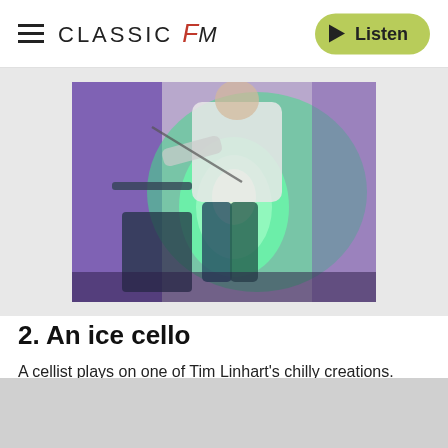CLASSIC fm  Listen
[Figure (photo): A cellist playing an ice cello instrument illuminated by green light, in a cold/icy environment. The cellist wears white and plays what appears to be a translucent instrument.]
2. An ice cello
A cellist plays on one of Tim Linhart's chilly creations. Credit: Graeme Richardson